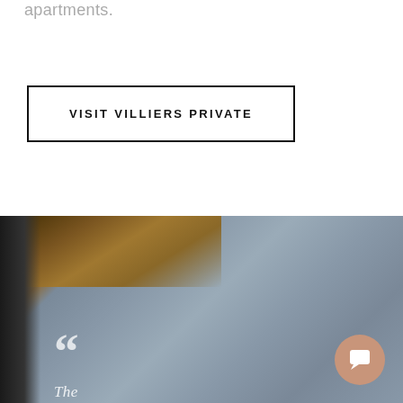apartments.
VISIT VILLIERS PRIVATE
[Figure (photo): Interior architectural photo showing a diagonal wooden beam or frame element in the upper left, transitioning to a blurred blue-grey background, with large opening quotation marks in white in the lower left and partial text beginning below, and a salmon/terracotta chat button in the lower right corner.]